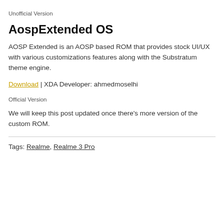Unofficial Version
AospExtended OS
AOSP Extended is an AOSP based ROM that provides stock UI/UX with various customizations features along with the Substratum theme engine.
Download | XDA Developer: ahmedmoselhi
Official Version
We will keep this post updated once there's more version of the custom ROM.
Tags: Realme, Realme 3 Pro